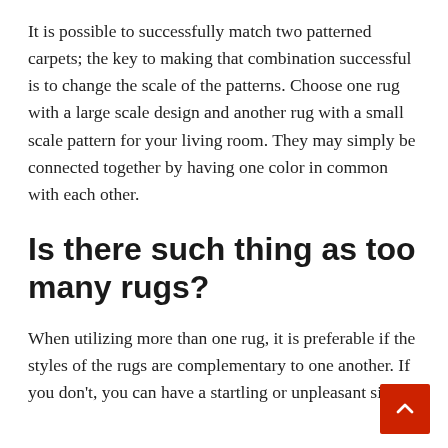It is possible to successfully match two patterned carpets; the key to making that combination successful is to change the scale of the patterns. Choose one rug with a large scale design and another rug with a small scale pattern for your living room. They may simply be connected together by having one color in common with each other.
Is there such thing as too many rugs?
When utilizing more than one rug, it is preferable if the styles of the rugs are complementary to one another. If you don't, you can have a startling or unpleasant side